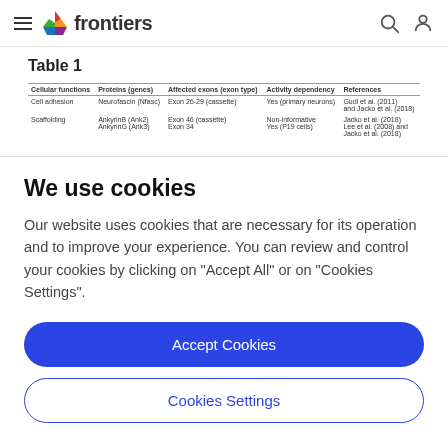frontiers
Table 1
| Cellular functions | Proteins (genes) | Affected exons (exon type) | Activity dependency | References |
| --- | --- | --- | --- | --- |
| Cell adhesion | Neurofascin (Nfasc) | Exon 26-29 (cassette) | Yes (primary neurons) | Gudi et al. (2011) and Jacko et al. (2018) |
| Scaffolding | AnkyrinB (Ank2)
AnkyrinG (Ank3) | Exon 46 (cassette)
Exon 34 | Non-informative
Yes (P19 cells) | Jacko et al. (2018)
Lee et al. (2008) and Jacko et al. (2018) |
| (cut off) | … | … | … | … |
We use cookies
Our website uses cookies that are necessary for its operation and to improve your experience. You can review and control your cookies by clicking on "Accept All" or on "Cookies Settings".
Accept Cookies
Cookies Settings